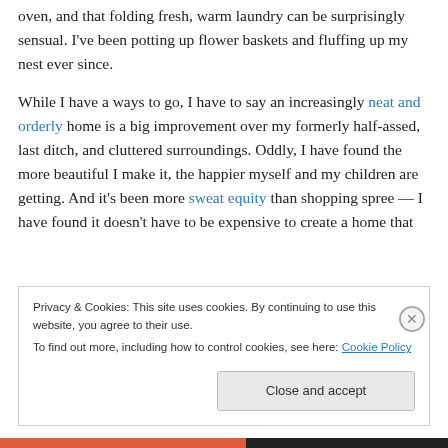oven, and that folding fresh, warm laundry can be surprisingly sensual. I've been potting up flower baskets and fluffing up my nest ever since.

While I have a ways to go, I have to say an increasingly neat and orderly home is a big improvement over my formerly half-assed, last ditch, and cluttered surroundings. Oddly, I have found the more beautiful I make it, the happier myself and my children are getting. And it's been more sweat equity than shopping spree — I have found it doesn't have to be expensive to create a home that
Privacy & Cookies: This site uses cookies. By continuing to use this website, you agree to their use.
To find out more, including how to control cookies, see here: Cookie Policy